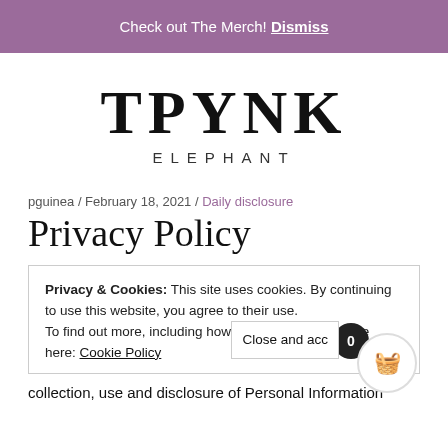Check out The Merch! Dismiss
TPYNK
ELEPHANT
pguinea / February 18, 2021 / Daily disclosure
Privacy Policy
Privacy & Cookies: This site uses cookies. By continuing to use this website, you agree to their use.
To find out more, including how to control cookies, see here: Cookie Policy
collection, use and disclosure of Personal Information